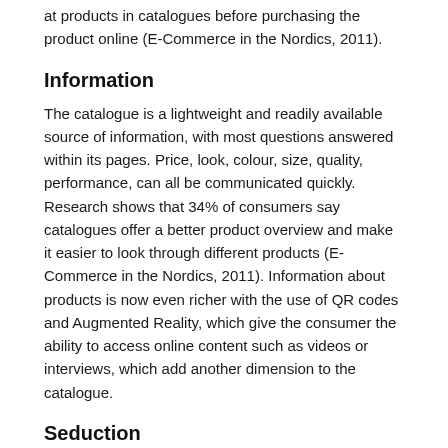at products in catalogues before purchasing the product online (E-Commerce in the Nordics, 2011).
Information
The catalogue is a lightweight and readily available source of information, with most questions answered within its pages. Price, look, colour, size, quality, performance, can all be communicated quickly. Research shows that 34% of consumers say catalogues offer a better product overview and make it easier to look through different products (E-Commerce in the Nordics, 2011). Information about products is now even richer with the use of QR codes and Augmented Reality, which give the consumer the ability to access online content such as videos or interviews, which add another dimension to the catalogue.
Seduction
For high-end products, a catalogue offers an opportunity